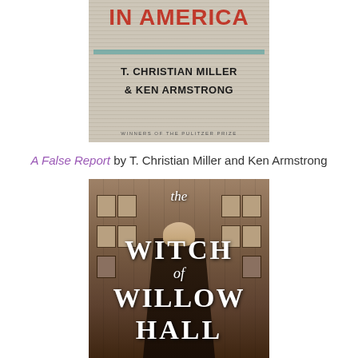[Figure (photo): Book cover of 'A False Report' showing 'IN AMERICA' in red bold text, authors T. Christian Miller & Ken Armstrong in black bold text, on a textured background. Winners of the Pulitzer Prize.]
A False Report by T. Christian Miller and Ken Armstrong
[Figure (photo): Book cover of 'The Witch of Willow Hall' showing a cloaked figure standing in front of a gothic building. The title appears in white serif text with 'the' in italic, 'WITCH', 'of', 'WILLOW', and 'HALL' stacked vertically.]